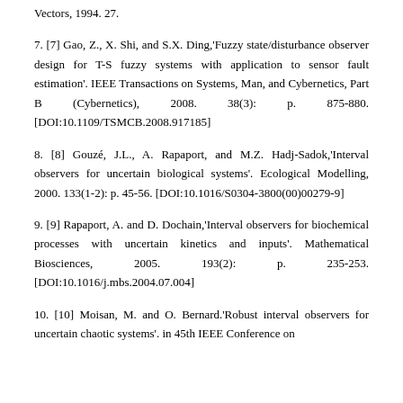Vectors, 1994. 27.
7. [7] Gao, Z., X. Shi, and S.X. Ding,'Fuzzy state/disturbance observer design for T-S fuzzy systems with application to sensor fault estimation'. IEEE Transactions on Systems, Man, and Cybernetics, Part B (Cybernetics), 2008. 38(3): p. 875-880. [DOI:10.1109/TSMCB.2008.917185]
8. [8] Gouzé, J.L., A. Rapaport, and M.Z. Hadj-Sadok,'Interval observers for uncertain biological systems'. Ecological Modelling, 2000. 133(1-2): p. 45-56. [DOI:10.1016/S0304-3800(00)00279-9]
9. [9] Rapaport, A. and D. Dochain,'Interval observers for biochemical processes with uncertain kinetics and inputs'. Mathematical Biosciences, 2005. 193(2): p. 235-253. [DOI:10.1016/j.mbs.2004.07.004]
10. [10] Moisan, M. and O. Bernard.'Robust interval observers for uncertain chaotic systems'. in 45th IEEE Conference on